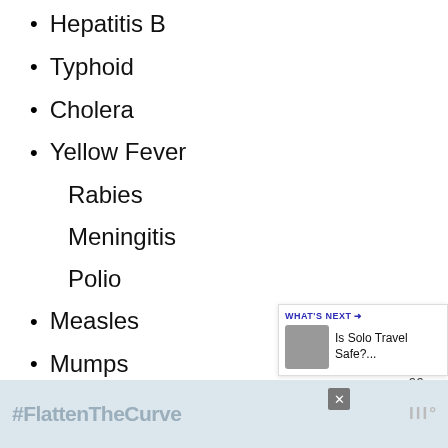Hepatitis B
Typhoid
Cholera
Yellow Fever
Rabies
Meningitis
Polio
Measles
Mumps
[Figure (infographic): Social media share buttons on left side: Facebook (dark blue), Twitter (light blue), Pinterest (red). Heart/like button with count 66 and share button on right side.]
[Figure (infographic): What's Next widget showing thumbnail image and text 'Is Solo Travel Safe?...']
[Figure (infographic): Ad banner at bottom with #FlattenTheCurve text and handwashing image]